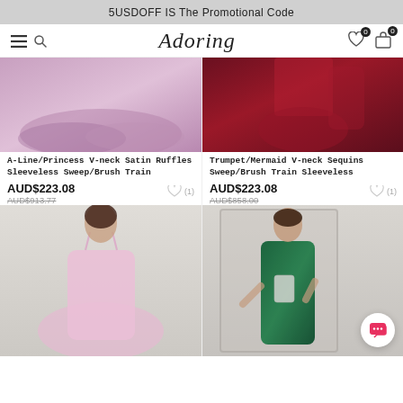5USDOFF IS The Promotional Code
[Figure (screenshot): Website navigation bar with hamburger menu, search icon, Adoring logo, heart (0) and bag (0) icons]
[Figure (photo): A-Line/Princess V-neck Satin Ruffles Sleeveless Sweep/Brush Train dress in pink/lavender]
A-Line/Princess V-neck Satin Ruffles Sleeveless Sweep/Brush Train
AUD$223.08
AUD$913.77
[Figure (photo): Trumpet/Mermaid V-neck Sequins Sweep/Brush Train Sleeveless dress in dark red/burgundy]
Trumpet/Mermaid V-neck Sequins Sweep/Brush Train Sleeveless
AUD$223.08
AUD$858.00
[Figure (photo): Woman in blush pink A-line spaghetti strap dress in bridal shop]
[Figure (photo): Woman in green sequin mermaid dress taking mirror selfie in boutique]